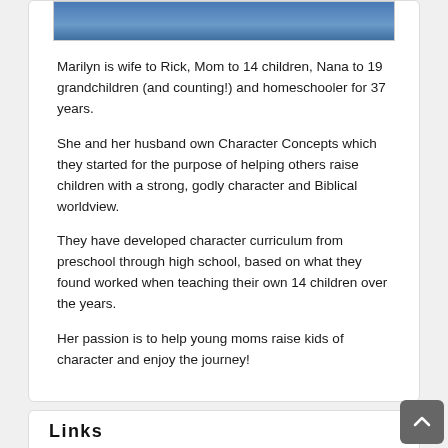[Figure (photo): Partial photo showing a person in blue clothing, cropped at top of page]
Marilyn is wife to Rick, Mom to 14 children, Nana to 19 grandchildren (and counting!) and homeschooler for 37 years.
She and her husband own Character Concepts which they started for the purpose of helping others raise children with a strong, godly character and Biblical worldview.
They have developed character curriculum from preschool through high school, based on what they found worked when teaching their own 14 children over the years.
Her passion is to help young moms raise kids of character and enjoy the journey!
Links
About Us